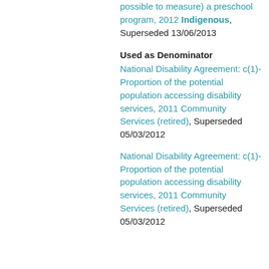possible to measure) a preschool program, 2012 Indigenous, Superseded 13/06/2013
Used as Denominator
National Disability Agreement: c(1)-Proportion of the potential population accessing disability services, 2011 Community Services (retired), Superseded 05/03/2012
National Disability Agreement: c(1)-Proportion of the potential population accessing disability services, 2011 Community Services (retired), Superseded 05/03/2012